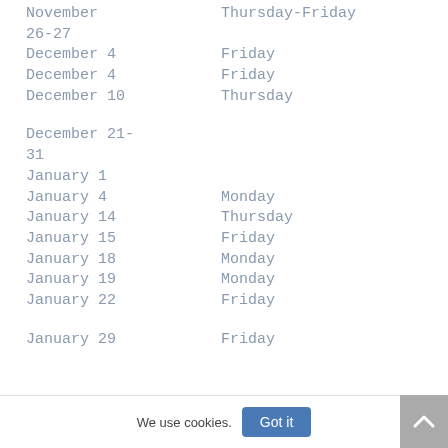| Date | Day |
| --- | --- |
| November 26-27 | Thursday-Friday |
| December 4 | Friday |
| December 4 | Friday |
| December 10 | Thursday |
| December 21-31 |  |
| January 1 |  |
| January 4 | Monday |
| January 14 | Thursday |
| January 15 | Friday |
| January 18 | Monday |
| January 19 | Monday |
| January 22 | Friday |
| January 29 | Friday |
We use cookies. Got it